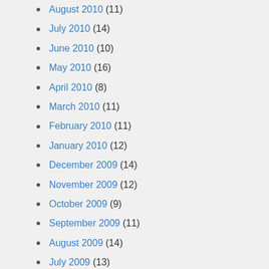August 2010 (11)
July 2010 (14)
June 2010 (10)
May 2010 (16)
April 2010 (8)
March 2010 (11)
February 2010 (11)
January 2010 (12)
December 2009 (14)
November 2009 (12)
October 2009 (9)
September 2009 (11)
August 2009 (14)
July 2009 (13)
June 2009 (2)
May 2009 (7)
April 2009 (10)
March 2009 (14)